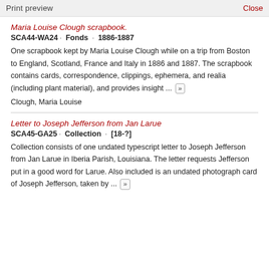Print preview    Close
Maria Louise Clough scrapbook.
SCA44-WA24 · Fonds · 1886-1887
One scrapbook kept by Maria Louise Clough while on a trip from Boston to England, Scotland, France and Italy in 1886 and 1887. The scrapbook contains cards, correspondence, clippings, ephemera, and realia (including plant material), and provides insight ... »
Clough, Maria Louise
Letter to Joseph Jefferson from Jan Larue
SCA45-GA25 · Collection · [18-?]
Collection consists of one undated typescript letter to Joseph Jefferson from Jan Larue in Iberia Parish, Louisiana. The letter requests Jefferson put in a good word for Larue. Also included is an undated photograph card of Joseph Jefferson, taken by ...